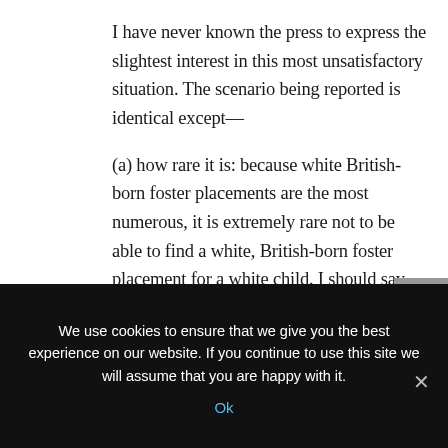I have never known the press to express the slightest interest in this most unsatisfactory situation. The scenario being reported is identical except—
(a) how rare it is: because white British-born foster placements are the most numerous, it is extremely rare not to be able to find a white, British-born foster placement for a white child. I should say that there is a particular shortage of Muslim foster carers and those that are available are always in
We use cookies to ensure that we give you the best experience on our website. If you continue to use this site we will assume that you are happy with it.
Ok